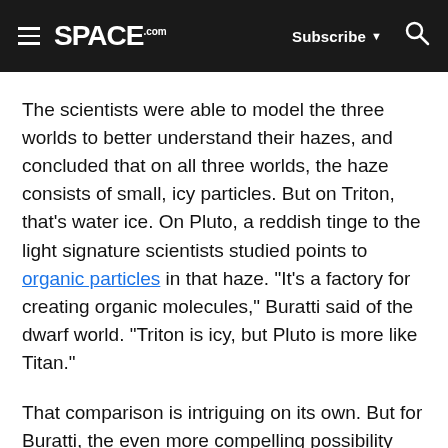SPACE.com — Subscribe — Search
The scientists were able to model the three worlds to better understand their hazes, and concluded that on all three worlds, the haze consists of small, icy particles. But on Triton, that's water ice. On Pluto, a reddish tinge to the light signature scientists studied points to organic particles in that haze. "It's a factory for creating organic molecules," Buratti said of the dwarf world. "Triton is icy, but Pluto is more like Titan."
That comparison is intriguing on its own. But for Buratti, the even more compelling possibility presented by this research stretches far beyond Pluto, she said. In fact, she wonders whether the haze